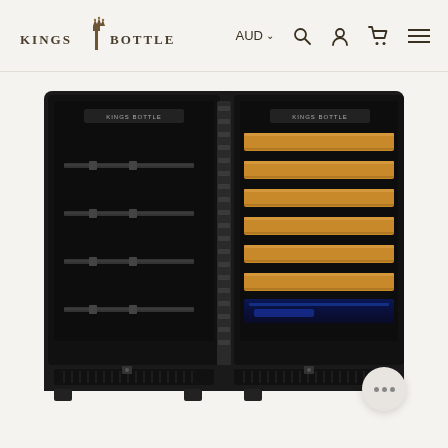[Figure (logo): Kings Bottle logo with crown emblem between KINGS and BOTTLE text]
AUD  🔍  👤  🛒  ☰
[Figure (photo): A dual-door black wine and beverage cooler refrigerator. Left door shows glass front with empty wire shelves in dark interior. Right door shows wooden/bamboo wine shelves lit with blue LED lighting at bottom. KingsBottle branding visible on both doors. Unit has ventilation grille at base.]